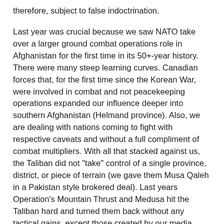therefore, subject to false indoctrination.
Last year was crucial because we saw NATO take over a larger ground combat operations role in Afghanistan for the first time in its 50+-year history. There were many steep learning curves. Canadian forces that, for the first time since the Korean War, were involved in combat and not peacekeeping operations expanded our influence deeper into southern Afghanistan (Helmand province). Also, we are dealing with nations coming to fight with respective caveats and without a full compliment of combat multipliers. With all that stacked against us, the Taliban did not "take" control of a single province, district, or piece of terrain (we gave them Musa Qaleh in a Pakistan style brokered deal). Last years Operation's Mountain Thrust and Medusa hit the Taliban hard and turned them back without any tactical gains, except those created by our media.
This year, we have a solid force, new leadership of NATO forces and combat multipliers such as F-16s, AV-8B Harriers, Attack Helicopters and UAVs. Could we use more? Sure. Quantity always has a quality of its own. The message